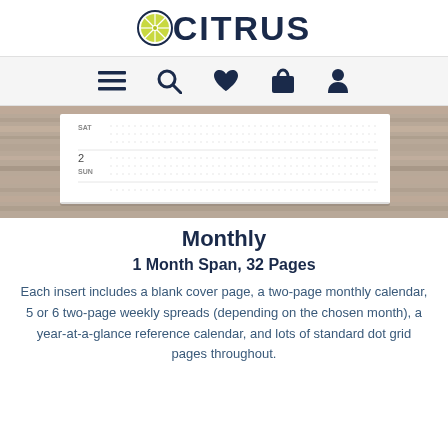[Figure (logo): OCITRUS logo with a lime/citrus circle icon on the left and the text CITRUS in dark navy bold letters]
[Figure (screenshot): Navigation bar with icons: hamburger menu, search magnifier, heart/favorites, shopping bag, and user/profile icons on light gray background]
[Figure (photo): Product photo showing a monthly planner insert on a wooden background, with SAT and SUN labels visible and dotted grid pages]
Monthly
1 Month Span, 32 Pages
Each insert includes a blank cover page, a two-page monthly calendar, 5 or 6 two-page weekly spreads (depending on the chosen month), a year-at-a-glance reference calendar, and lots of standard dot grid pages throughout.